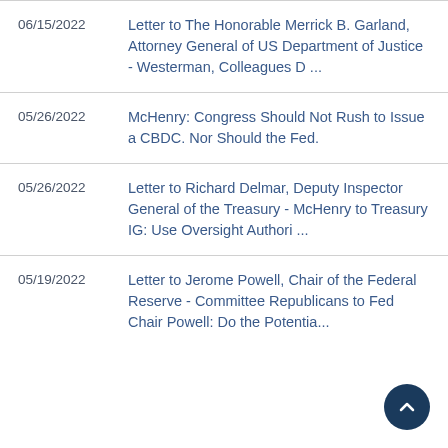06/15/2022 | Letter to The Honorable Merrick B. Garland, Attorney General of US Department of Justice - Westerman, Colleagues D ...
05/26/2022 | McHenry: Congress Should Not Rush to Issue a CBDC. Nor Should the Fed.
05/26/2022 | Letter to Richard Delmar, Deputy Inspector General of the Treasury - McHenry to Treasury IG: Use Oversight Authori ...
05/19/2022 | Letter to Jerome Powell, Chair of the Federal Reserve - Committee Republicans to Fed Chair Powell: Do the Potentia...